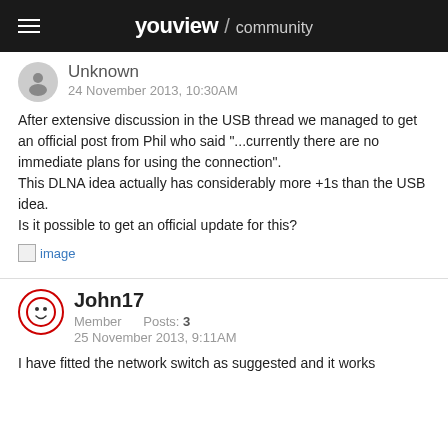youview / community
Unknown
24 November 2013, 10:30AM
After extensive discussion in the USB thread we managed to get an official post from Phil who said "...currently there are no immediate plans for using the connection".
This DLNA idea actually has considerably more +1s than the USB idea.
Is it possible to get an official update for this?
[Figure (other): Broken image placeholder labeled 'image']
John17
Member    Posts: 3
25 November 2013, 9:11AM
I have fitted the network switch as suggested and it works